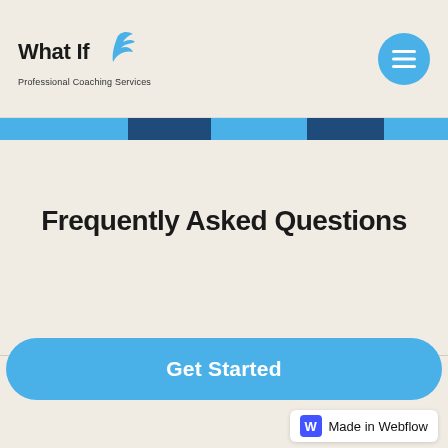[Figure (logo): What If Professional Coaching Services logo with blue bird/wing graphic]
Frequently Asked Questions
What is Coaching?
Get Started
Made in Webflow